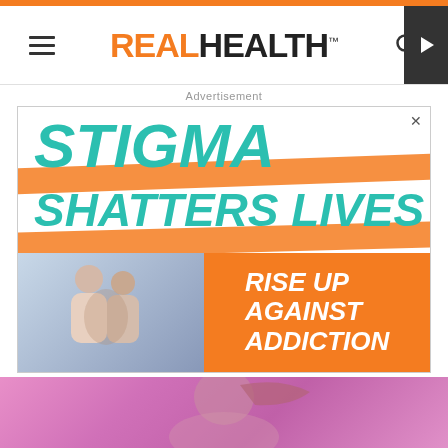REAL HEALTH
Advertisement
[Figure (infographic): Advertisement banner: 'STIGMA SHATTERS LIVES - RISE UP AGAINST ADDICTION' with orange diagonal stripes over teal bold italic text, and photo of two women hugging at an event on the left, orange box with white text on the right.]
[Figure (photo): Partially visible photo of a young woman with a high ponytail against a pink/magenta background, cropped at bottom of page.]